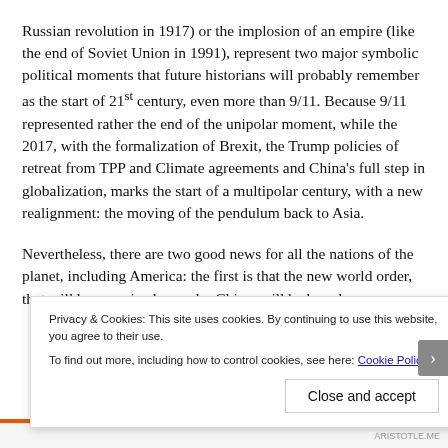Russian revolution in 1917) or the implosion of an empire (like the end of Soviet Union in 1991), represent two major symbolic political moments that future historians will probably remember as the start of 21st century, even more than 9/11. Because 9/11 represented rather the end of the unipolar moment, while the 2017, with the formalization of Brexit, the Trump policies of retreat from TPP and Climate agreements and China's full step in globalization, marks the start of a multipolar century, with a new realignment: the moving of the pendulum back to Asia.
Nevertheless, there are two good news for all the nations of the planet, including America: the first is that the new world order, that will be organized more by China, will be based on...
Privacy & Cookies: This site uses cookies. By continuing to use this website, you agree to their use.
To find out more, including how to control cookies, see here: Cookie Policy
Close and accept